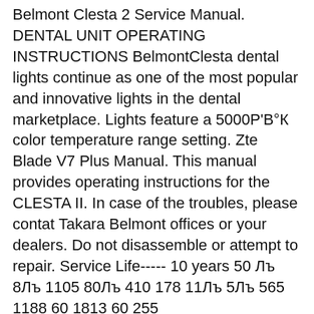Belmont Clesta 2 Service Manual. DENTAL UNIT OPERATING INSTRUCTIONS BelmontClesta dental lights continue as one of the most popular and innovative lights in the dental marketplace. Lights feature a 5000Р'В°К color temperature range setting. Zte Blade V7 Plus Manual. This manual provides operating instructions for the CLESTA II. In case of the troubles, please contat Takara Belmont offices or your dealers. Do not disassemble or attempt to repair. Service Life----- 10 years 50 Лъ 8Лъ 1105 80Лъ 410 178 11Лъ 5Лъ 565 1188 60 1813 60 255
Belmont Clesta eIII Ultimate Air System